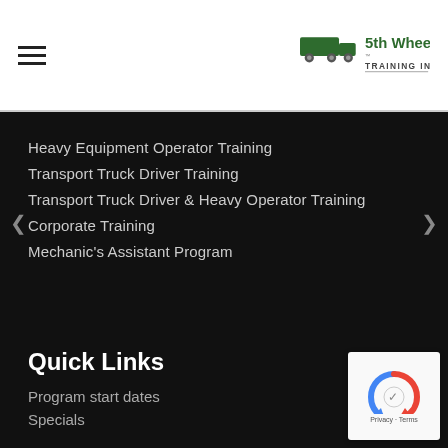5th Wheel Training Institute
Heavy Equipment Operator Training
Transport Truck Driver Training
Transport Truck Driver & Heavy Operator Training
Corporate Training
Mechanic's Assistant Program
Quick Links
Program start dates
Specials